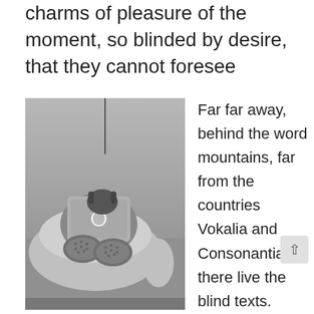charms of pleasure of the moment, so blinded by desire, that they cannot foresee
[Figure (photo): Black and white photo of a person sitting in a large armchair, holding a laptop with an Apple logo, feet up on the chair, wearing sneakers]
Far far away, behind the word mountains, far from the countries Vokalia and Consonantia, there live the blind texts. Separated they live in Bookmarksgrove right at the